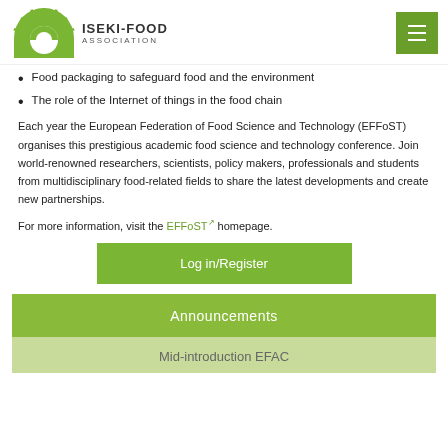ISEKI-FOOD ASSOCIATION
Food packaging to safeguard food and the environment
The role of the Internet of things in the food chain
Each year the European Federation of Food Science and Technology (EFFoST) organises this prestigious academic food science and technology conference. Join world-renowned researchers, scientists, policy makers, professionals and students from multidisciplinary food-related fields to share the latest developments and create new partnerships.
For more information, visit the EFFoST homepage.
Log in/Register
Announcements
Mid-introduction EFAC